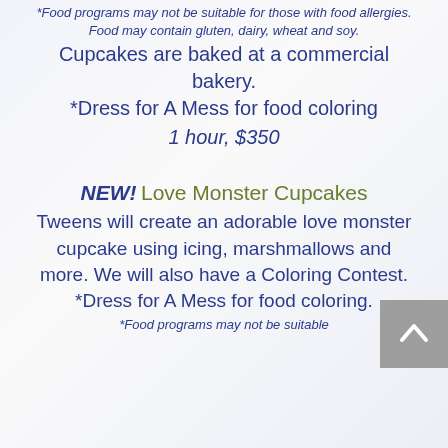*Food programs may not be suitable for those with food allergies. Food may contain gluten, dairy, wheat and soy.
Cupcakes are baked at a commercial bakery. *Dress for A Mess for food coloring
1 hour, $350
NEW! Love Monster Cupcakes
Tweens will create an adorable love monster cupcake using icing, marshmallows and more. We will also have a Coloring Contest. *Dress for A Mess for food coloring.
*Food programs may not be suitable